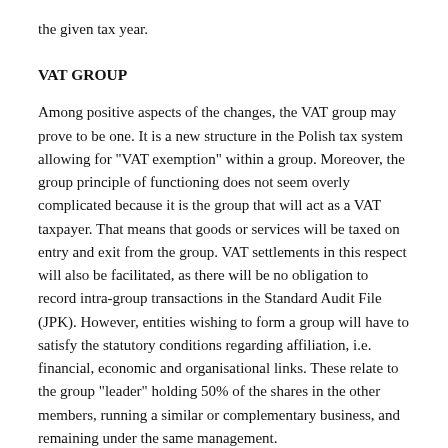the given tax year.
VAT GROUP
Among positive aspects of the changes, the VAT group may prove to be one. It is a new structure in the Polish tax system allowing for "VAT exemption" within a group. Moreover, the group principle of functioning does not seem overly complicated because it is the group that will act as a VAT taxpayer. That means that goods or services will be taxed on entry and exit from the group. VAT settlements in this respect will also be facilitated, as there will be no obligation to record intra-group transactions in the Standard Audit File (JPK). However, entities wishing to form a group will have to satisfy the statutory conditions regarding affiliation, i.e. financial, economic and organisational links. These relate to the group "leader" holding 50% of the shares in the other members, running a similar or complementary business, and remaining under the same management.